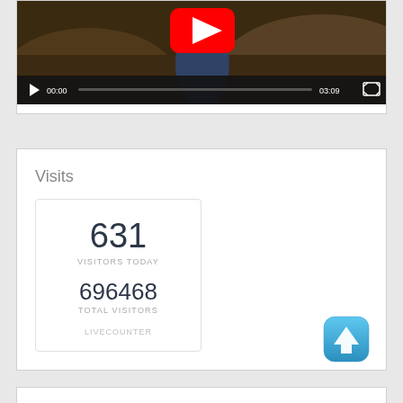[Figure (screenshot): YouTube video player showing a person in a blue dress outdoors, with playback controls showing time 00:00 and duration 03:09]
Visits
[Figure (infographic): Live counter widget showing 631 visitors today and 696468 total visitors with LIVECOUNTER branding]
[Figure (illustration): Blue rounded square button with white upward arrow icon]